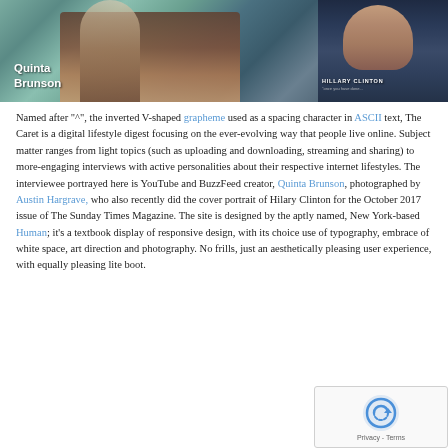[Figure (photo): Magazine-style photo collage: left side shows Quinta Brunson reclining casually in a teal/mint outfit against pillows, right side shows Hillary Clinton in a blue-toned portrait with clasped hands. Text overlay 'Quinta Brunson' on left, 'HILLARY CLINTON' on right.]
Named after "^", the inverted V-shaped grapheme used as a spacing character in ASCII text, The Caret is a digital lifestyle digest focusing on the ever-evolving way that people live online. Subject matter ranges from light topics (such as uploading and downloading, streaming and sharing) to more-engaging interviews with active personalities about their respective internet lifestyles. The interviewee portrayed here is YouTube and BuzzFeed creator, Quinta Brunson, photographed by Austin Hargrave, who also recently did the cover portrait of Hilary Clinton for the October 2017 issue of The Sunday Times Magazine. The site is designed by the aptly named, New York-based Human; it's a textbook display of responsive design, with its choice use of typography, embrace of white space, art direction and photography. No frills, just an aesthetically pleasing user experience, with equally pleasing lite boot.